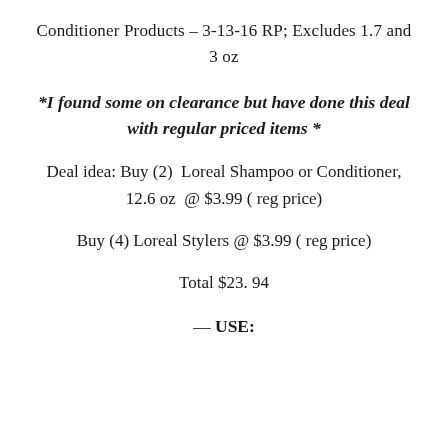Conditioner Products – 3-13-16 RP; Excludes 1.7 and 3 oz
*I found some on clearance but have done this deal with regular priced items *
Deal idea: Buy (2)  Loreal Shampoo or Conditioner, 12.6 oz  @ $3.99 ( reg price)
Buy (4) Loreal Stylers @ $3.99 ( reg price)
Total $23. 94
— USE: